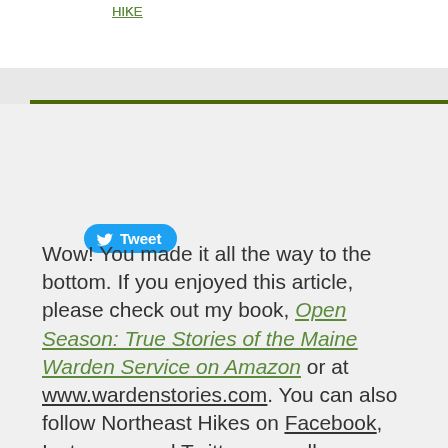HIKE
[Figure (other): Twitter Tweet button with bird icon]
Wow! You made it all the way to the bottom. If you enjoyed this article, please check out my book, Open Season: True Stories of the Maine Warden Service on Amazon or at www.wardenstories.com. You can also follow Northeast Hikes on Facebook, Instagram and Twitter, as well as contribute to our sponsored Google+ Community